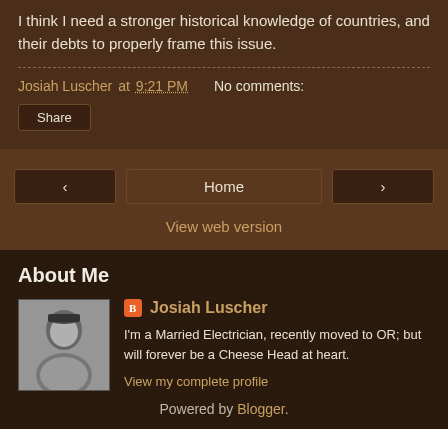I think I need a stronger historical knowledge of countries, and their debts to properly frame this issue.
Josiah Luscher at 9:21 PM   No comments:
Share
‹   Home   ›
View web version
About Me
Josiah Luscher
I'm a Married Electrician, recently moved to OR; but will forever be a Cheese Head at heart.
View my complete profile
Powered by Blogger.